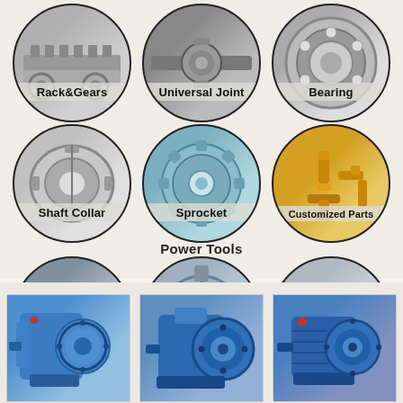[Figure (infographic): Product category grid showing mechanical parts in circular frames. Row 1: Rack&Gears, Universal Joint, Bearing. Row 2: Shaft Collar, Sprocket, Customized Parts. Section label: Power Tools. Row 3: Vacuum Pump, Ring Blower, Hydraulic Fitting. Bottom: three rectangular photos of blue industrial gearboxes/reducers.]
Rack&Gears
Universal Joint
Bearing
Shaft Collar
Sprocket
Customized Parts
Power Tools
Vacuum Pump
Ring Blower
Hydraulic Fitting